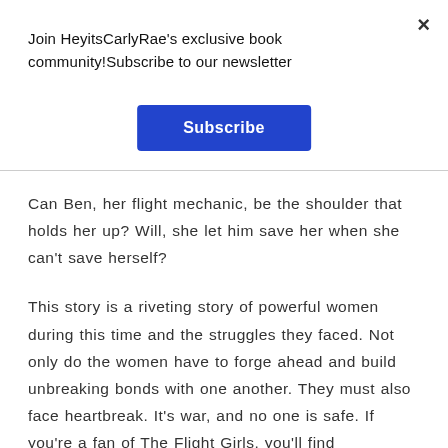Join HeyitsCarlyRae's exclusive book community!Subscribe to our newsletter
Subscribe
×
Can Ben, her flight mechanic, be the shoulder that holds her up? Will, she let him save her when she can't save herself?
This story is a riveting story of powerful women during this time and the struggles they faced. Not only do the women have to forge ahead and build unbreaking bonds with one another. They must also face heartbreak. It's war, and no one is safe. If you're a fan of The Flight Girls, you'll find